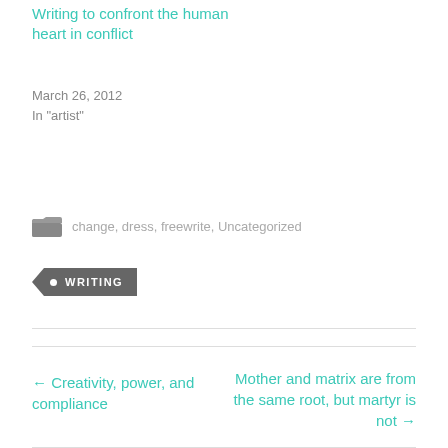Writing to confront the human heart in conflict
March 26, 2012
In "artist"
change, dress, freewrite, Uncategorized
WRITING
← Creativity, power, and compliance
Mother and matrix are from the same root, but martyr is not →